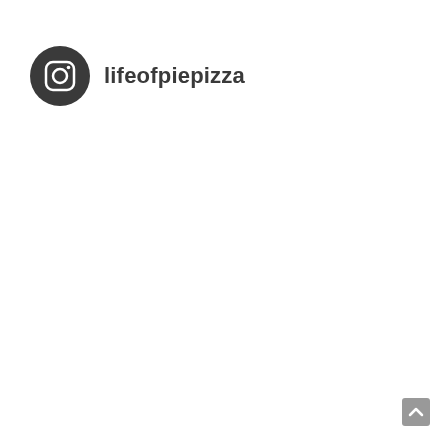[Figure (logo): Instagram logo icon — dark circular background with white Instagram camera icon, followed by the username 'lifeofpiepizza' in dark gray sans-serif text]